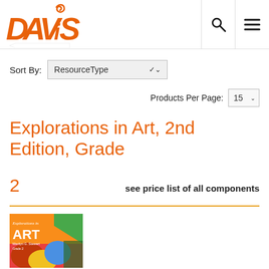[Figure (logo): Davis Publications logo - orange stylized text 'DAViS' with a swirl]
Sort By:   ResourceType
Products Per Page: 15
Explorations in Art, 2nd Edition, Grade 2
see price list of all components
[Figure (photo): Cover of Explorations in Art textbook with orange cover and colorful artwork]